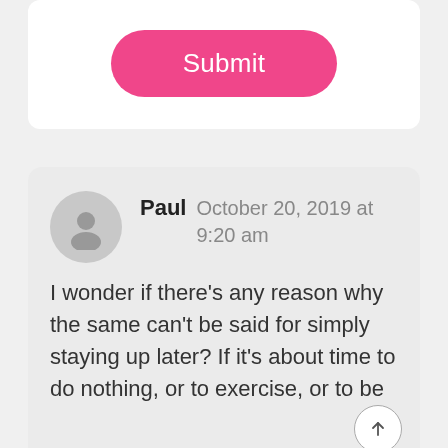[Figure (screenshot): A pink/hot-pink rounded pill-shaped Submit button on a white card background]
[Figure (screenshot): A comment block on a light gray card showing user Paul's comment dated October 20, 2019 at 9:20 am with a gray avatar icon and partial comment text]
Paul  October 20, 2019 at 9:20 am
I wonder if there's any reason why the same can't be said for simply staying up later? If it's about time to do nothing, or to exercise, or to be